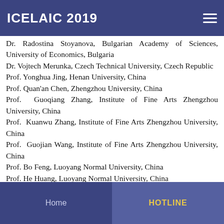ICELAIC 2019
Dr. Radostina Stoyanova, Bulgarian Academy of Sciences, University of Economics, Bulgaria
Dr. Vojtech Merunka, Czech Technical University, Czech Republic
Prof. Yonghua Jing, Henan University, China
Prof. Quan'an Chen, Zhengzhou University, China
Prof.  Guoqiang Zhang, Institute of Fine Arts Zhengzhou University, China
Prof.  Kuanwu Zhang, Institute of Fine Arts Zhengzhou University, China
Prof.  Guojian Wang, Institute of Fine Arts Zhengzhou University, China
Prof. Bo Feng, Luoyang Normal University, China
Prof. He Huang, Luoyang Normal University, China
Prof. Jin Zhang, Zhongyuan University of Technology, China
Home | HOTLINE